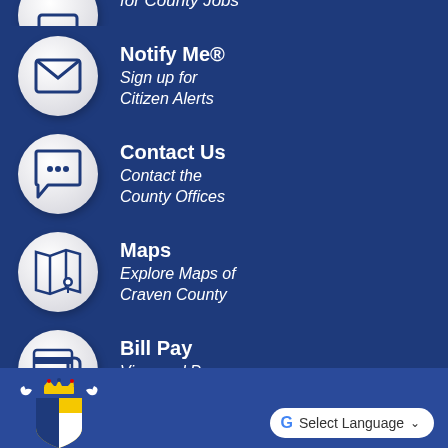for County Jobs
Notify Me® Sign up for Citizen Alerts
Contact Us Contact the County Offices
Maps Explore Maps of Craven County
Bill Pay View and Pay Your Bill Online
[Figure (logo): Craven County coat of arms logo]
Select Language